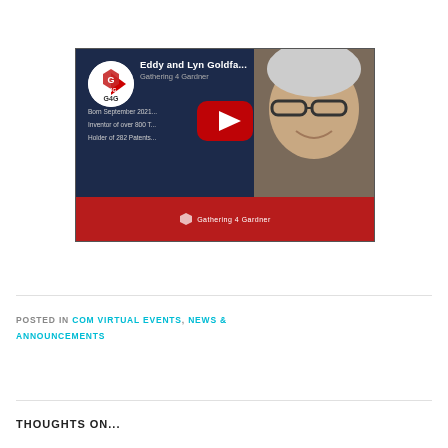[Figure (screenshot): YouTube video thumbnail showing 'Eddy and Lyn Goldfa...' with G4G channel logo, play button, text about Goldfarb details, and a woman with glasses smiling. Red bottom bar with Gathering 4 Gardner branding.]
POSTED IN COM VIRTUAL EVENTS, NEWS & ANNOUNCEMENTS
THOUGHTS ON...